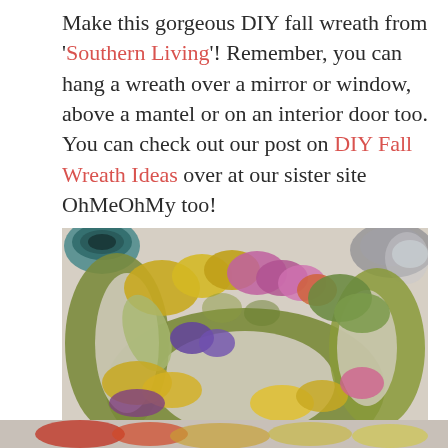Make this gorgeous DIY fall wreath from 'Southern Living'! Remember, you can hang a wreath over a mirror or window, above a mantel or on an interior door too. You can check out our post on DIY Fall Wreath Ideas over at our sister site OhMeOhMy too!
[Figure (photo): Overhead photo of a DIY fall wreath made from dried flowers and botanicals in yellow, purple, pink, and green tones, laid on a linen-colored surface with dishes partially visible in upper corners.]
[Figure (photo): Partial bottom strip of another photo showing red and orange dried floral wreath elements.]